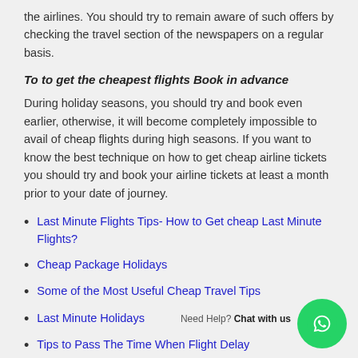the airlines. You should try to remain aware of such offers by checking the travel section of the newspapers on a regular basis.
To to get the cheapest flights Book in advance
During holiday seasons, you should try and book even earlier, otherwise, it will become completely impossible to avail of cheap flights during high seasons. If you want to know the best technique on how to get cheap airline tickets you should try and book your airline tickets at least a month prior to your date of journey.
Last Minute Flights Tips- How to Get cheap Last Minute Flights?
Cheap Package Holidays
Some of the Most Useful Cheap Travel Tips
Last Minute Holidays
Tips to Pass The Time When Flight Delay